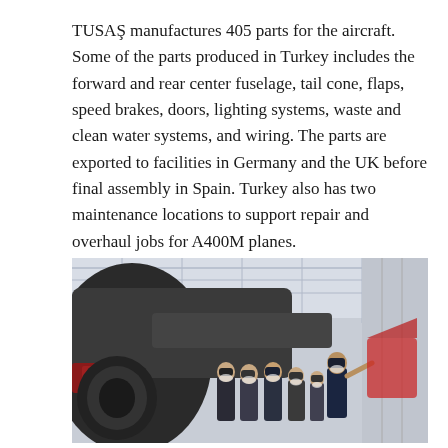TUSAŞ manufactures 405 parts for the aircraft. Some of the parts produced in Turkey includes the forward and rear center fuselage, tail cone, flaps, speed brakes, doors, lighting systems, waste and clean water systems, and wiring. The parts are exported to facilities in Germany and the UK before final assembly in Spain. Turkey also has two maintenance locations to support repair and overhaul jobs for A400M planes.
[Figure (photo): A group of officials and military personnel in masks inspecting a large military transport aircraft (A400M) inside a hangar. An officer on the right is gesturing while briefing the group. The aircraft fuselage and wing structures are visible, with a bright hangar roof in the background.]